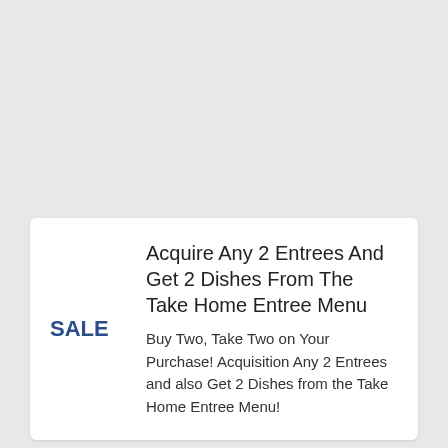Acquire Any 2 Entrees And Get 2 Dishes From The Take Home Entree Menu
Buy Two, Take Two on Your Purchase! Acquisition Any 2 Entrees and also Get 2 Dishes from the Take Home Entree Menu!
Free Appetizer With Online Purchase $30...